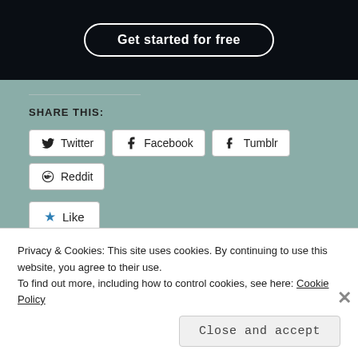[Figure (other): Dark banner with 'Get started for free' button with rounded border]
SHARE THIS:
Twitter  Facebook  Tumblr  Reddit
★ Like
Be the first to like this.
Workplace Design
April 21, 2020
Privacy & Cookies: This site uses cookies. By continuing to use this website, you agree to their use.
To find out more, including how to control cookies, see here: Cookie Policy
Close and accept